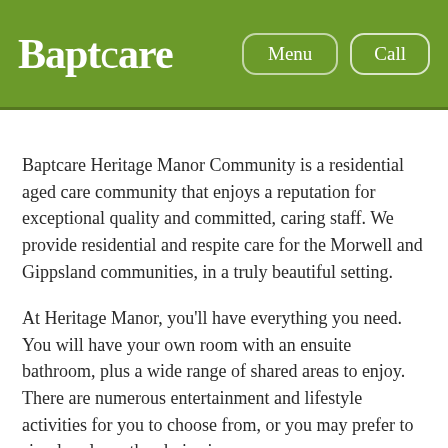Baptcare | Menu | Call
Baptcare Heritage Manor Community is a residential aged care community that enjoys a reputation for exceptional quality and committed, caring staff. We provide residential and respite care for the Morwell and Gippsland communities, in a truly beautiful setting.
At Heritage Manor, you'll have everything you need. You will have your own room with an ensuite bathroom, plus a wide range of shared areas to enjoy. There are numerous entertainment and lifestyle activities for you to choose from, or you may prefer to simply relax – the choice is yours.
Heritage Manor was specifically developed to meet the needs of our community, and we continue to incorporate the latest innovations in aged care. We strive to ensure that all